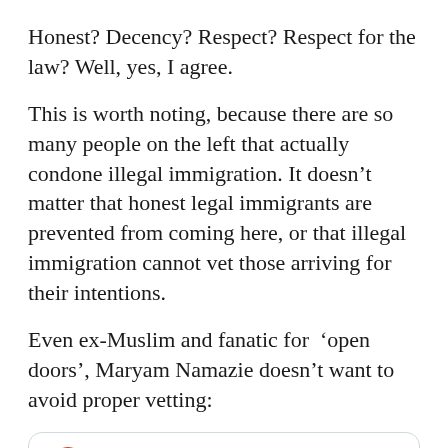Honest? Decency? Respect? Respect for the law? Well, yes, I agree.
This is worth noting, because there are so many people on the left that actually condone illegal immigration. It doesn't matter that honest legal immigrants are prevented from coming here, or that illegal immigration cannot vet those arriving for their intentions.
Even ex-Muslim and fanatic for ‘open doors’, Maryam Namazie doesn’t want to avoid proper vetting:
[Figure (screenshot): Twitter/X card showing Maryam Namazie's profile with name in English and Arabic script, verified checkmark, handle @MaryamNamazie, and Follow link]